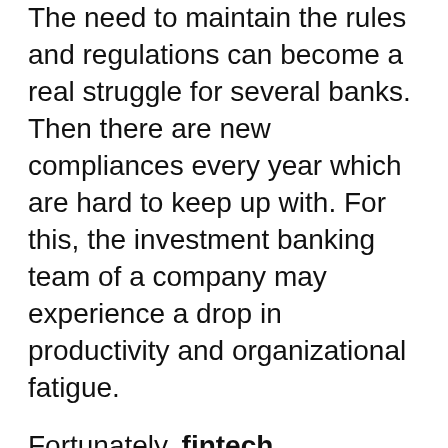The need to maintain the rules and regulations can become a real struggle for several banks. Then there are new compliances every year which are hard to keep up with. For this, the investment banking team of a company may experience a drop in productivity and organizational fatigue.
Fortunately, fintech investment banks have brought a better way through cloud migration that is shaping the management of compliances for several companies. Using cloud computing the network and central database system can achieve a connected and more agile ecosystem. Cloud computing depends on digital infrastructure this means it's accessible by authorized officials from anywhere and anytime. In this article, let's find out the tips on getting in touch with a better investment